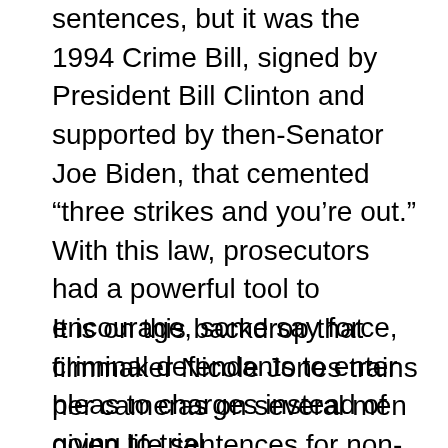sentences, but it was the 1994 Crime Bill, signed by President Bill Clinton and supported by then-Senator Joe Biden, that cemented “three strikes and you’re out.” With this law, prosecutors had a powerful tool to encourage, some say force, criminal defendants to enter pleas to charges instead of going to trial.
It is on this backdrop that filmmaker Nicole Jones trains her cameras on several men given life sentences for non-violent offenses merely because they previously had minor drug convictions. Early in the film, Jones introduces us to some of her subjects, who